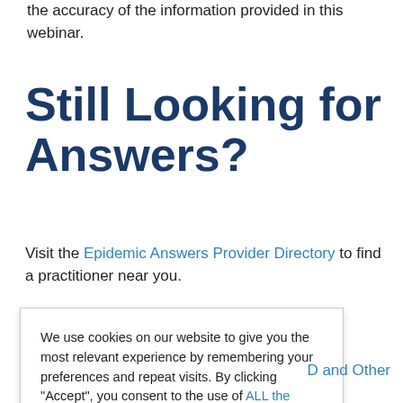the accuracy of the information provided in this webinar.
Still Looking for Answers?
Visit the Epidemic Answers Provider Directory to find a practitioner near you.
We use cookies on our website to give you the most relevant experience by remembering your preferences and repeat visits. By clicking “Accept”, you consent to the use of ALL the cookies.
Cookie settings  ACCEPT
D and Other